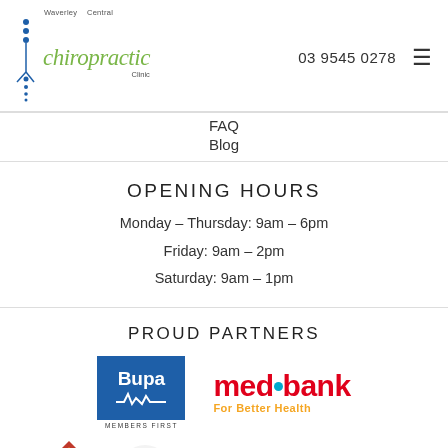[Figure (logo): Waverley Central Chiropractic Clinic logo with spine graphic and green italic text]
03 9545 0278
FAQ
Blog
OPENING HOURS
Monday – Thursday: 9am – 6pm
Friday: 9am – 2pm
Saturday: 9am – 1pm
PROUD PARTNERS
[Figure (logo): Bupa Members First logo - blue square with Bupa text and heartbeat line]
[Figure (logo): Medibank For Better Health logo - red medibank text with blue dot and orange tagline]
[Figure (logo): NIB diamond/rhombus logo in red and orange colors]
[Figure (logo): Partial logos at bottom right]